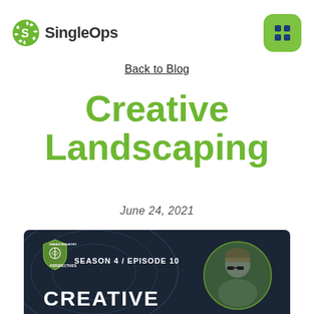[Figure (logo): SingleOps logo with green gear icon and 'SingleOps' text in dark gray]
[Figure (other): Green rounded square with four dark blue dots arranged in a 2x2 grid, like a menu/apps icon]
Back to Blog
Creative Landscaping
June 24, 2021
[Figure (illustration): Dark podcast episode banner showing 'Green Industry Perspectives' shield logo, 'SEASON 4 / EPISODE 10', text 'CREATIVE' in white at bottom, and a circular photo of a person wearing sunglasses and a beanie hat on the right side]